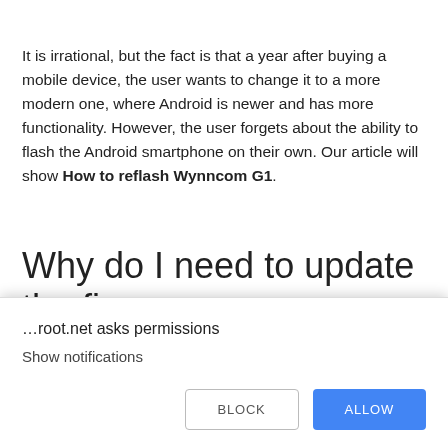It is irrational, but the fact is that a year after buying a mobile device, the user wants to change it to a more modern one, where Android is newer and has more functionality. However, the user forgets about the ability to flash the Android smartphone on their own. Our article will show How to reflash Wynncom G1.
Why do I need to update the firmware on Wynncom G1?
[Figure (screenshot): Browser permission dialog overlay asking '…root.net asks permissions' with 'Show notifications' option and BLOCK / ALLOW buttons]